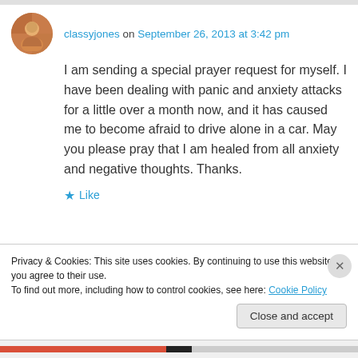classyjones on September 26, 2013 at 3:42 pm
I am sending a special prayer request for myself. I have been dealing with panic and anxiety attacks for a little over a month now, and it has caused me to become afraid to drive alone in a car. May you please pray that I am healed from all anxiety and negative thoughts. Thanks.
★ Like
Privacy & Cookies: This site uses cookies. By continuing to use this website, you agree to their use.
To find out more, including how to control cookies, see here: Cookie Policy
Close and accept